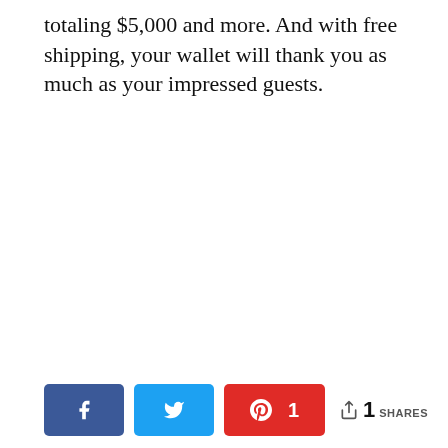totaling $5,000 and more. And with free shipping, your wallet will thank you as much as your impressed guests.
[Figure (infographic): Social sharing bar with Facebook button, Twitter button, Pinterest button showing 1 pin, and a share count showing 1 SHARES]